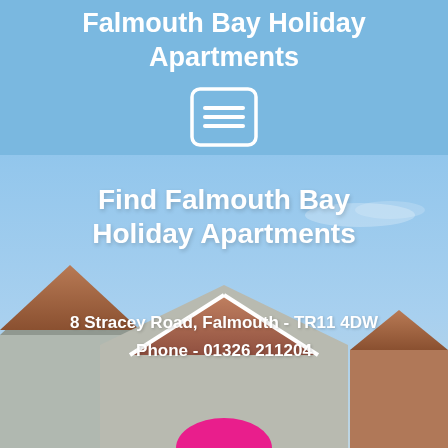Falmouth Bay Holiday Apartments
[Figure (screenshot): Menu/hamburger icon button — white rounded rectangle with three horizontal white lines inside, on light blue background]
[Figure (photo): Photograph of holiday apartment rooftops with a light blue sky background. Shows roof gables with terracotta tiles. A pink circular button/icon is partially visible at the bottom center.]
Find Falmouth Bay Holiday Apartments
8 Stracey Road, Falmouth - TR11 4DW
Phone - 01326 211204